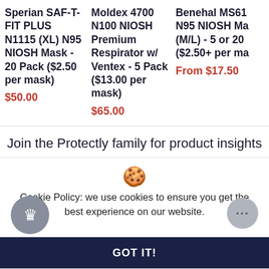Sperian SAF-T-FIT PLUS N1115 (XL) N95 NIOSH Mask - 20 Pack ($2.50 per mask)
$50.00
Moldex 4700 N100 NIOSH Premium Respirator w/ Ventex - 5 Pack ($13.00 per mask)
$65.00
Benehal MS61 N95 NIOSH Mask (M/L) - 5 or 20 ($2.50+ per mask)
From $17.50
Join the Protectly family for product insights
Cookie Policy: we use cookies to ensure you get the best experience on our website.
GOT IT!